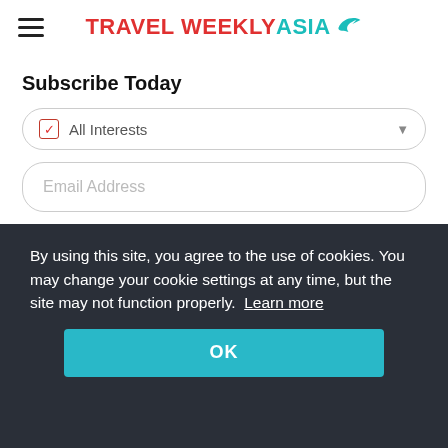[Figure (logo): Travel Weekly Asia logo with hamburger menu icon]
Subscribe Today
[Figure (screenshot): All Interests dropdown selector with checkbox]
[Figure (screenshot): Email Address input field]
By using this site, you agree to the use of cookies. You may change your cookie settings at any time, but the site may not function properly. Learn more
[Figure (screenshot): OK button in teal/cyan color]